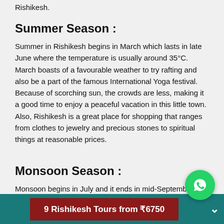Rishikesh.
Summer Season :
Summer in Rishikesh begins in March which lasts in late June where the temperature is usually around 35°C. March boasts of a favourable weather to try rafting and also be a part of the famous International Yoga festival. Because of scorching sun, the crowds are less, making it a good time to enjoy a peaceful vacation in this little town. Also, Rishikesh is a great place for shopping that ranges from clothes to jewelry and precious stones to spiritual things at reasonable prices.
Monsoon Season :
Monsoon begins in July and it ends in mid-September with monsoon begins in July and it ends in mid-September. During this time, most activities are suspended due to the heavy blast of rains. Though Rishikesh and surrounding places can be visited during monsoon, heavy rains can block the roads...
9 Rishikesh Tours from ₹6750